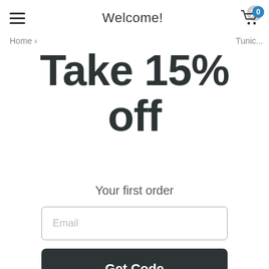Welcome!
Home ›
Tunic...
Take 15% off
Your first order
Email
Get Code
No Thanks